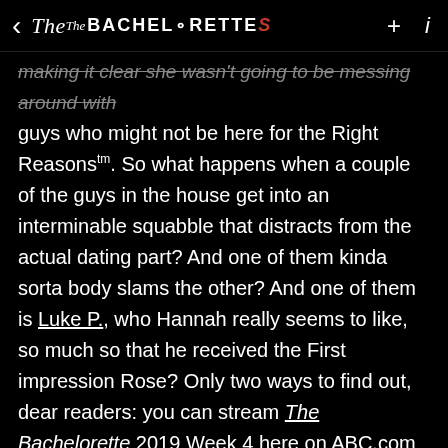< The Bachelorettes + i
making it clear she wasn't going to be messing around with guys who might not be here for the Right Reasons™. So what happens when a couple of the guys in the house get into an interminable squabble that distracts from the actual dating part? And one of them kinda sorta body slams the other? And one of them is Luke P., who Hannah really seems to like, so much so that he received the First impression Rose? Only two ways to find out, dear readers: you can stream The Bachelorette 2019 Week 4 here on ABC.com or in the ABC app, or read on for this week's highlights!
A Brave New (England) World
The group—Hannah and the 15 guys who remain—leaves the mansion for the first time this season, heading out to Newport, RI, to take in the sights and experiences of the